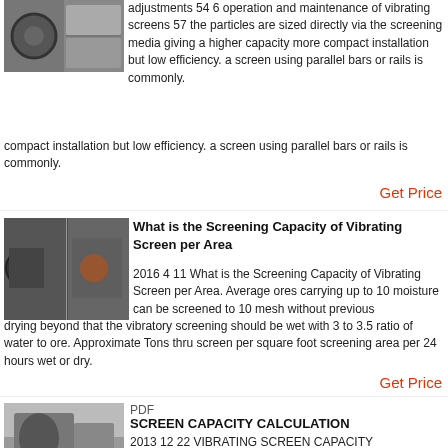[Figure (photo): Industrial machinery/vibrating screen equipment photo]
adjustments 54 6 operation and maintenance of vibrating screens 57 the particles are sized directly via the screening media giving a higher capacity more compact installation but low efficiency. a screen using parallel bars or rails is commonly.
Get Price
[Figure (photo): Crushers and industrial screening machinery photo collage]
What is the Screening Capacity of Vibrating Screen per Area
2016 4 11 What is the Screening Capacity of Vibrating Screen per Area. Average ores carrying up to 10 moisture can be screened to 10 mesh without previous drying beyond that the vibratory screening should be wet with 3 to 3.5 ratio of water to ore. Approximate Tons thru screen per square foot screening area per 24 hours wet or dry.
Get Price
[Figure (photo): Industrial facility interior machinery photo]
PDF
SCREEN CAPACITY CALCULATION
2013 12 22 VIBRATING SCREEN CAPACITY CALCULATIONS Throughput per square foot of screen area is the name of the screen game and no design